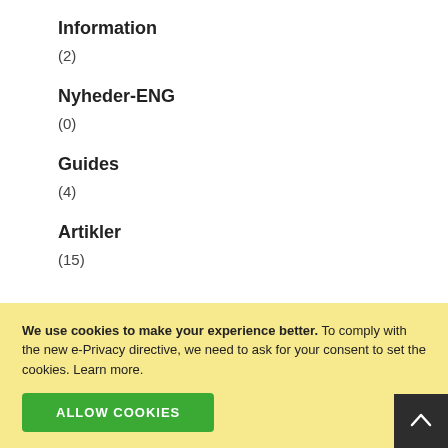Information
(2)
Nyheder-ENG
(0)
Guides
(4)
Artikler
(15)
We use cookies to make your experience better. To comply with the new e-Privacy directive, we need to ask for your consent to set the cookies. Learn more.